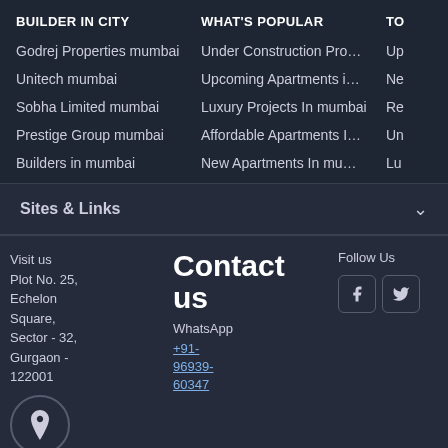BUILDER IN CITY
WHAT'S POPULAR
TO
Godrej Properties mumbai
Under Construction Pro…
Up
Unitech mumbai
Upcoming Apartments i…
Ne
Sobha Limited mumbai
Luxury Projects In mumbai
Re
Prestige Group mumbai
Affordable Apartments I…
Un
Builders in mumbai
New Apartments In mu…
Lu
Sites & Links
Visit us
Plot No. 25, Echelon Square, Sector - 32, Gurgaon - 122001
visit all regional
Contact us
WhatsApp
+91- 96939- 60347
Follow Us